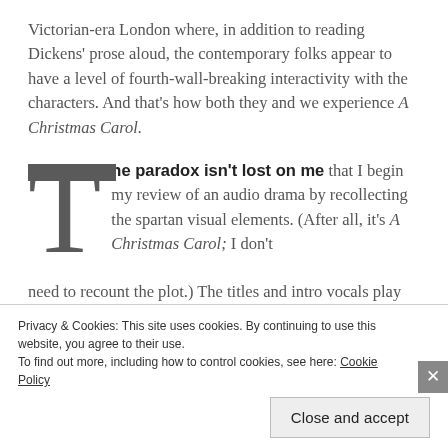Victorian-era London where, in addition to reading Dickens' prose aloud, the contemporary folks appear to have a level of fourth-wall-breaking interactivity with the characters. And that's how both they and we experience A Christmas Carol.
The paradox isn't lost on me that I begin my review of an audio drama by recollecting the spartan visual elements. (After all, it's A Christmas Carol; I don't need to recount the plot.) The titles and intro vocals play over a wallpaper-like tapestry. When our party-goers are transported into the story, we're given the
Privacy & Cookies: This site uses cookies. By continuing to use this website, you agree to their use.
To find out more, including how to control cookies, see here: Cookie Policy
Close and accept